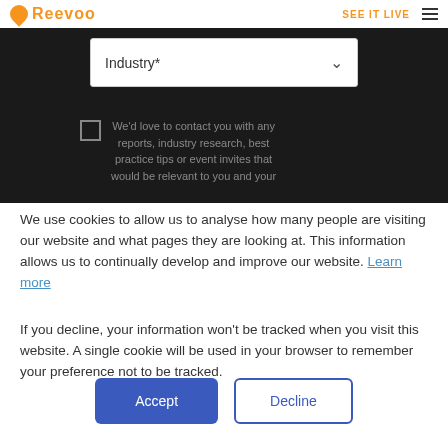Reevoo | SEE IT LIVE
[Figure (screenshot): Dark background form section with an Industry dropdown selector and a checkbox with text about contact consent]
We use cookies to allow us to analyse how many people are visiting our website and what pages they are looking at. This information allows us to continually develop and improve our website. Learn more
If you decline, your information won't be tracked when you visit this website. A single cookie will be used in your browser to remember your preference not to be tracked.
Accept | Decline